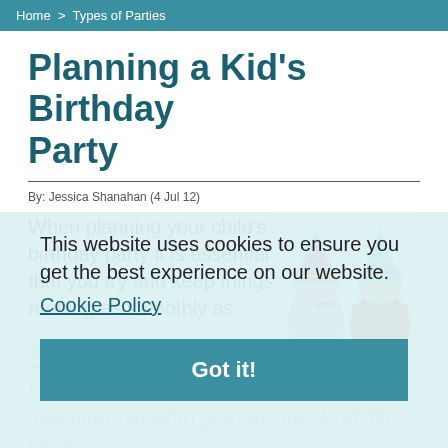Home > Types of Parties
Planning a Kid's Birthday Party
By: Jessica Shanahan (4 Jul 12)
When planning your child's birthday party it is essential that you try and keep things running as smoothly as possible to ensure that you s... n...
[Figure (photo): Two young children wearing colorful party hats, one blowing a party horn]
This website uses cookies to ensure you get the best experience on our website.
Cookie Policy
Got it!
Sending the Invitations
When sending out invitations think about how many children you can handle at the party